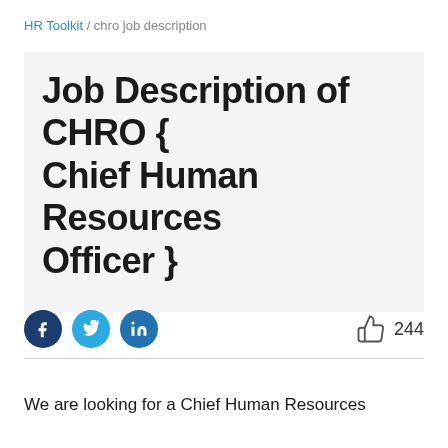HR Toolkit / chro job description
Job Description of CHRO { Chief Human Resources Officer }
[Figure (infographic): Social sharing icons (Facebook, Twitter, LinkedIn) and an applause/clap icon with count 244]
We are looking for a Chief Human Resources